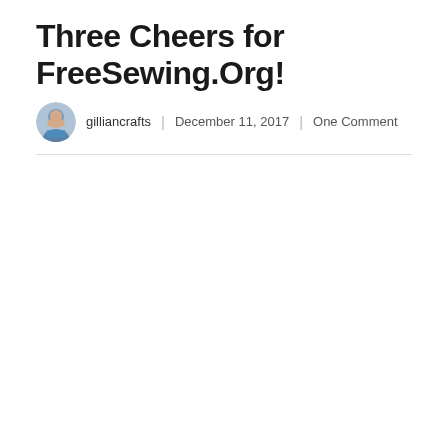Three Cheers for FreeSewing.Org!
gilliancrafts | December 11, 2017 | One Comment